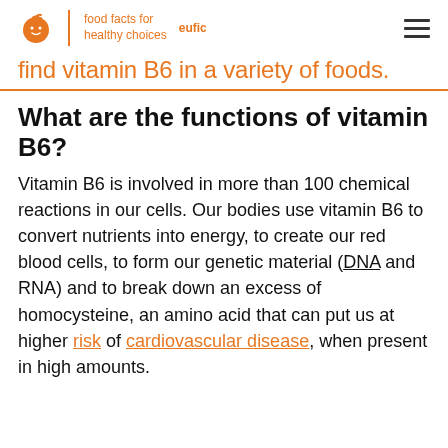eufic | food facts for healthy choices
find vitamin B6 in a variety of foods.
What are the functions of vitamin B6?
Vitamin B6 is involved in more than 100 chemical reactions in our cells. Our bodies use vitamin B6 to convert nutrients into energy, to create our red blood cells, to form our genetic material (DNA and RNA) and to break down an excess of homocysteine, an amino acid that can put us at higher risk of cardiovascular disease, when present in high amounts.